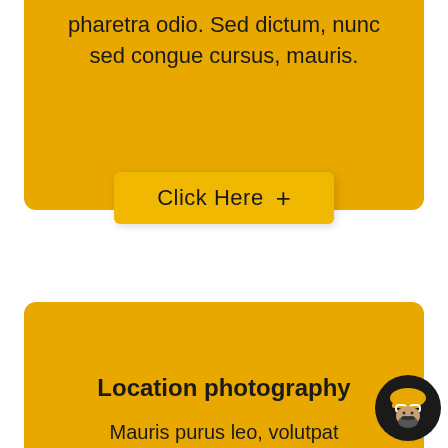pharetra odio. Sed dictum, nunc sed congue cursus, mauris.
Click Here +
[Figure (illustration): Black circle with a white globe/world icon on a stand]
Location photography
Mauris purus leo, volutpat dapibus sagitt scelerisque pharetra odio. Sed dictum, nunc sed congue cursus, mauris.
[Figure (logo): Circular logo with a bearded man wearing a hard hat and goggles]